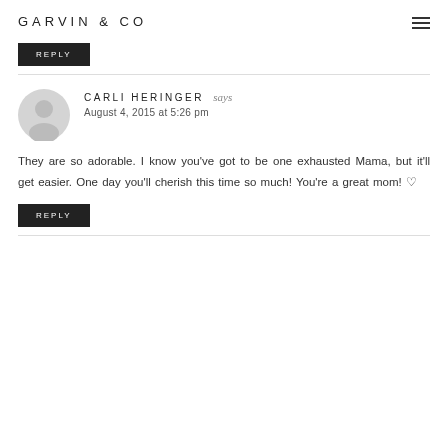GARVIN & CO
REPLY
CARLI HERINGER says
August 4, 2015 at 5:26 pm
They are so adorable. I know you've got to be one exhausted Mama, but it'll get easier. One day you'll cherish this time so much! You're a great mom! ♡
REPLY